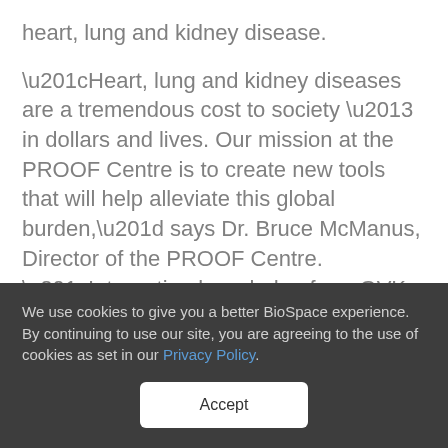heart, lung and kidney disease.
“Heart, lung and kidney diseases are a tremendous cost to society – in dollars and lives. Our mission at the PROOF Centre is to create new tools that will help alleviate this global burden,” says Dr. Bruce McManus, Director of the PROOF Centre. “Integrating knowledge from GVK Biosciences’ Biomarker Database will be a significant advantage in helping us accelerate the
We use cookies to give you a better BioSpace experience. By continuing to use our site, you are agreeing to the use of cookies as set in our Privacy Policy.
Accept